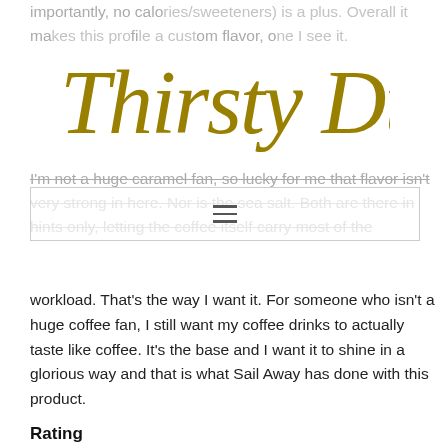[Figure (logo): Thirsty Dudes logo in gold italic script font]
importantly, no calories/sweeteners) is a plus. Overall it makes this profile a custom flavor, one I see it.
I'm not a huge caramel fan, so lucky for me that flavor isn't very strong in here. Nor is the sea salt. Both are there in hints only, letting the coffee itself carry most of the workload. That's the way I want it. For someone who isn't a huge coffee fan, I still want my coffee drinks to actually taste like coffee. It's the base and I want it to shine in a glorious way and that is what Sail Away has done with this product.
Rating
☐☐☐☐☐
Categories
Coffee
Company